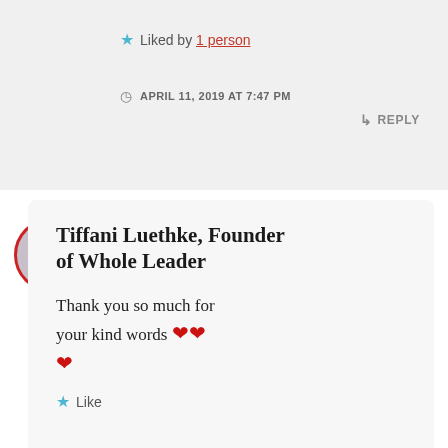★ Liked by 1 person
APRIL 11, 2019 AT 7:47 PM
↳ REPLY
Tiffani Luethke, Founder of Whole Leader
Thank you so much for your kind words ❤❤ ❤
★ Like